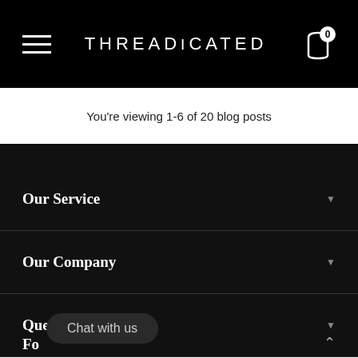THREADiCATED
You're viewing 1-6 of 20 blog posts
Our Service
Our Company
Questions?
Chat with us
Fo